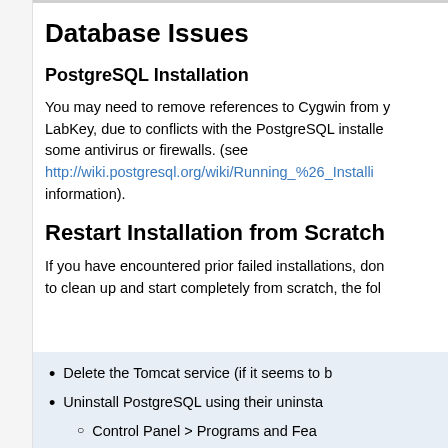Database Issues
PostgreSQL Installation
You may need to remove references to Cygwin from your LabKey, due to conflicts with the PostgreSQL installer and some antivirus or firewalls. (see http://wiki.postgresql.org/wiki/Running_%26_Installing... information).
Restart Installation from Scratch
If you have encountered prior failed installations, don't to clean up and start completely from scratch, the fol
Delete the Tomcat service (if it seems to b
Uninstall PostgreSQL using their uninsta
Control Panel > Programs and Fea